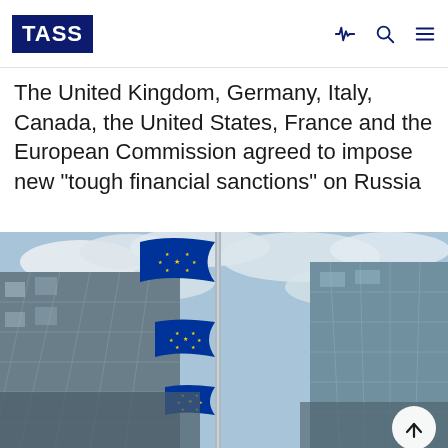TASS
The United Kingdom, Germany, Italy, Canada, the United States, France and the European Commission agreed to impose new "tough financial sanctions" on Russia
[Figure (photo): Low-angle view of EU flags on flagpoles in front of glass modern buildings with a partly cloudy sky background. The European Union flags (blue with yellow stars) are flying prominently.]